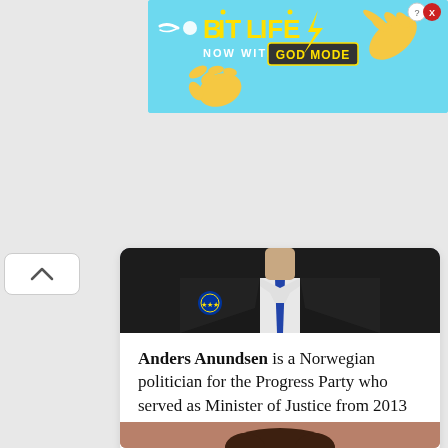[Figure (screenshot): Advertisement banner for BitLife game with 'GOD MODE' text, yellow hand icons, lightning bolt, on light blue background]
[Figure (photo): Partial image of a man in a dark suit with a blue tie, cropped showing neck and torso]
Anders Anundsen is a Norwegian politician for the Progress Party who served as Minister of Justice from 2013 to 2016. He was also a
[Figure (photo): Portrait photo of Anders Anundsen, a man with curly brown hair, glasses, and a beard, smiling slightly, against a warm reddish-brown background]